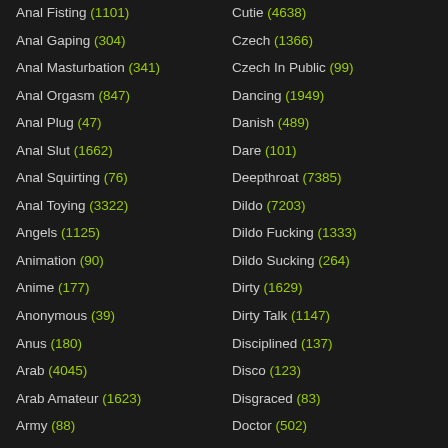Anal Fisting (1101)
Anal Gaping (304)
Anal Masturbation (341)
Anal Orgasm (847)
Anal Plug (47)
Anal Slut (1662)
Anal Squirting (76)
Anal Toying (3322)
Angels (1125)
Animation (90)
Anime (177)
Anonymous (39)
Anus (180)
Arab (4045)
Arab Amateur (1623)
Army (88)
Cutie (4638)
Czech (1366)
Czech In Public (99)
Dancing (1949)
Danish (489)
Dare (101)
Deepthroat (7385)
Dildo (7203)
Dildo Fucking (1333)
Dildo Sucking (264)
Dirty (1629)
Dirty Talk (1147)
Disciplined (137)
Disco (123)
Disgraced (83)
Doctor (502)